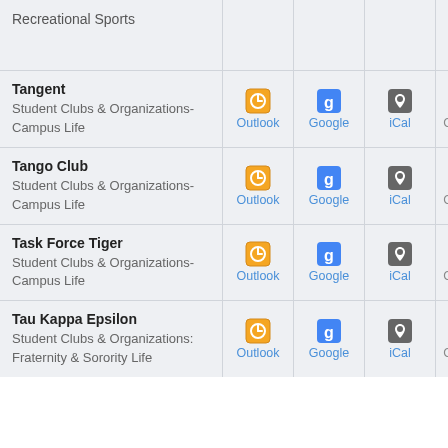| Organization | Outlook | Google | iCal | Copy Link |
| --- | --- | --- | --- | --- |
| Recreational Sports |  |  |  |  |
| Tangent
Student Clubs & Organizations-Campus Life | Outlook | Google | iCal | Copy Link |
| Tango Club
Student Clubs & Organizations-Campus Life | Outlook | Google | iCal | Copy Link |
| Task Force Tiger
Student Clubs & Organizations-Campus Life | Outlook | Google | iCal | Copy Link |
| Tau Kappa Epsilon
Student Clubs & Organizations: Fraternity & Sorority Life | Outlook | Google | iCal | Copy Link |